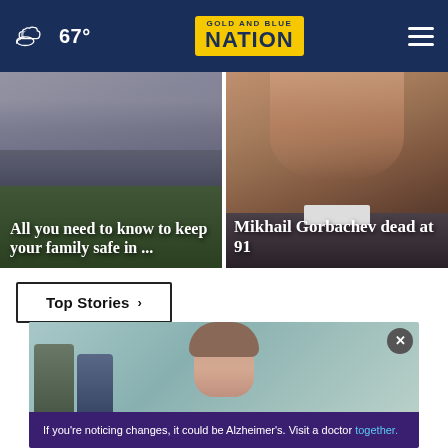Gold and Blue Nation | 67°
[Figure (photo): Stormy sky over green fields - news thumbnail for family safety article]
All you need to know to keep your family safe in ...
[Figure (photo): Close-up photo of Mikhail Gorbachev's face]
Mikhail Gorbachev dead at 91
Top Stories ›
[Figure (photo): Advertisement banner: woman's face with two people below, Alzheimer's awareness ad. Text: If you're noticing changes, it could be Alzheimer's. Visit a doctor together.]